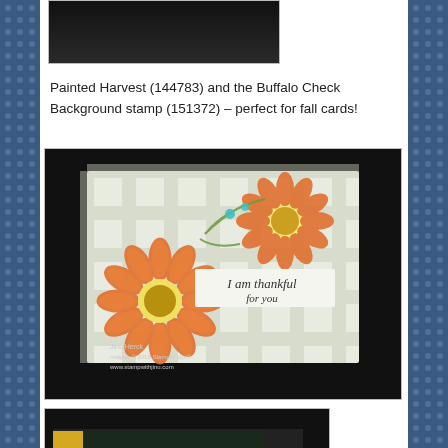[Figure (photo): Cropped bottom portion of a handmade card on dark background — partially visible at top of page]
Painted Harvest (144783) and the Buffalo Check Background stamp (151372) – perfect for fall cards!
[Figure (photo): Handmade fall card featuring orange sunflowers (Painted Harvest stamp set) on a buffalo check background with 'I am thankful for you' sentiment. Watermark reads: Jinu Herck, Images © 2018 Stampin' Up!, www.stampwithjinu.com]
[Figure (photo): Partially visible third card at the bottom of the page with dark background, yellow and purple flowers visible]